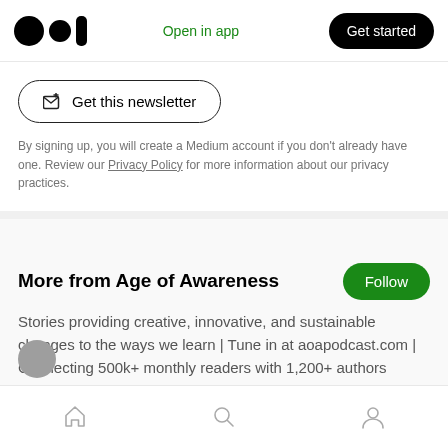Medium logo | Open in app | Get started
[Figure (screenshot): Get this newsletter button with email icon and rounded border]
By signing up, you will create a Medium account if you don't already have one. Review our Privacy Policy for more information about our privacy practices.
More from Age of Awareness
Stories providing creative, innovative, and sustainable changes to the ways we learn | Tune in at aoapodcast.com | Connecting 500k+ monthly readers with 1,200+ authors
Home | Search | Profile navigation icons